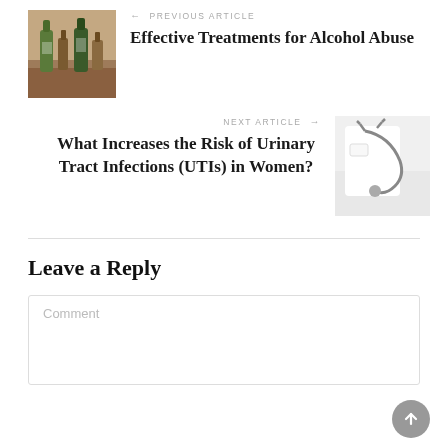[Figure (photo): Thumbnail photo of alcohol bottles on a wooden surface]
← PREVIOUS ARTICLE
Effective Treatments for Alcohol Abuse
NEXT ARTICLE →
What Increases the Risk of Urinary Tract Infections (UTIs) in Women?
[Figure (photo): Thumbnail photo of a doctor in white coat with stethoscope]
Leave a Reply
Comment